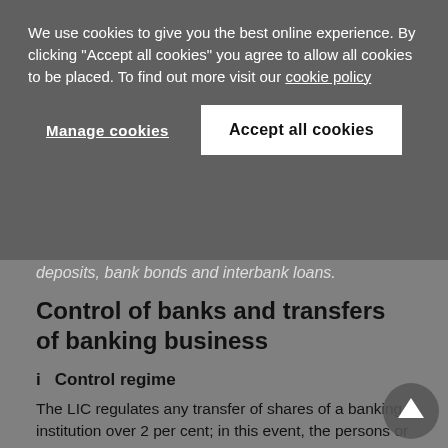We use cookies to give you the best online experience. By clicking "Accept all cookies" you agree to allow all cookies to be placed. To find out more visit our cookie policy
Manage cookies
Accept all cookies
deposits, bank bonds and interbank loans.
Control of banks and transfers of banking business
i    Control regime
The LIC regulates any transfer of shares of a banking institution over 2 per cent; in this event, the persons or entities either selling or acquiring the shares must notify the CNBV within three business days of the date on